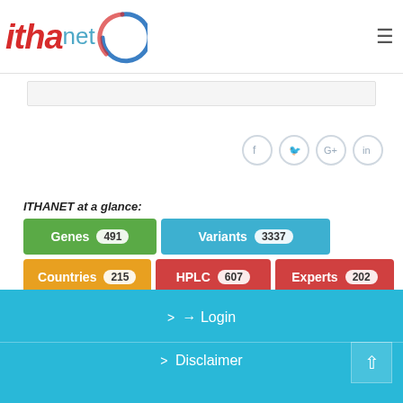[Figure (logo): ithanet logo with red italic 'itha', blue 'net' text and blue circle arc]
[Figure (infographic): ITHANET at a glance stats: Genes 491, Variants 3337, Countries 215, HPLC 607, Experts 202, Organizations 163]
> Login
> Disclaimer